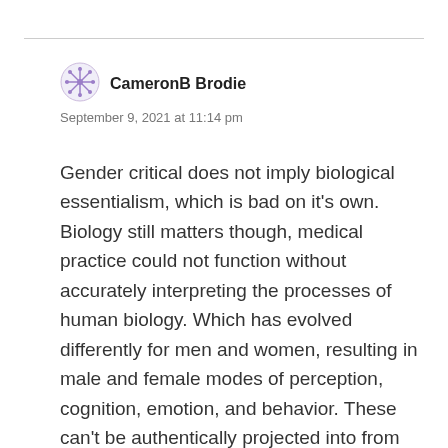[Figure (illustration): Purple geometric/floral avatar icon for user CameronB Brodie]
CameronB Brodie
September 9, 2021 at 11:14 pm
Gender critical does not imply biological essentialism, which is bad on it's own. Biology still matters though, medical practice could not function without accurately interpreting the processes of human biology. Which has evolved differently for men and women, resulting in male and female modes of perception, cognition, emotion, and behavior. These can't be authentically projected into from the opposite biology, and we can't change our biological sex. So using the law to force society to behave differently, is a step closer